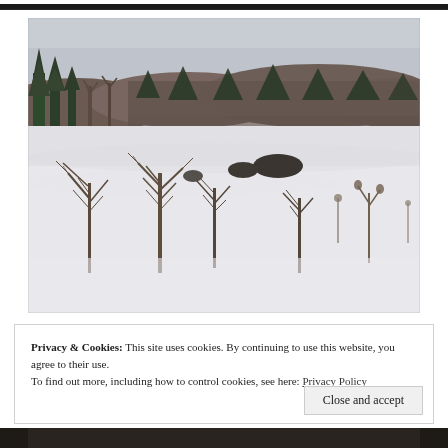[Figure (photo): Partial crop of a photo at the very top of the page showing a dark outdoor scene.]
[Figure (photo): Winter landscape photograph showing a snow-covered field with bare shrubs and branches in the foreground, a line of evergreen and deciduous trees in the middle ground, and forested hills under an overcast grey sky.]
[Figure (photo): Partial crop of a photo at the very bottom of the page showing a dark outdoor winter scene.]
Privacy & Cookies: This site uses cookies. By continuing to use this website, you agree to their use.
To find out more, including how to control cookies, see here: Privacy Policy
Close and accept